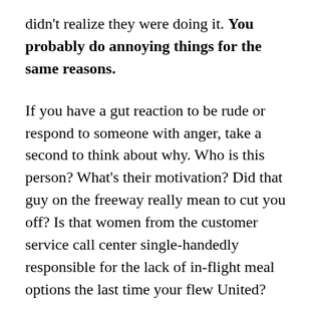didn't realize they were doing it. You probably do annoying things for the same reasons.
If you have a gut reaction to be rude or respond to someone with anger, take a second to think about why. Who is this person? What's their motivation? Did that guy on the freeway really mean to cut you off? Is that women from the customer service call center single-handedly responsible for the lack of in-flight meal options the last time your flew United?
So when someone's an asshole, don't